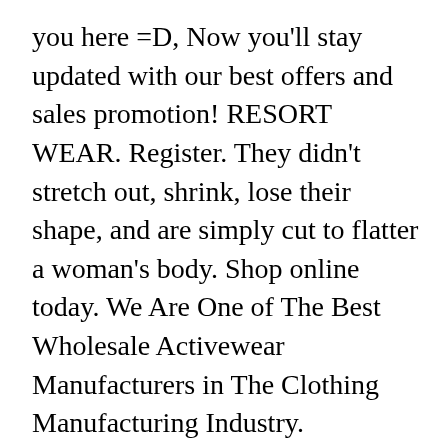you here =D, Now you'll stay updated with our best offers and sales promotion! RESORT WEAR. Register. They didn't stretch out, shrink, lose their shape, and are simply cut to flatter a woman's body. Shop online today. We Are One of The Best Wholesale Activewear Manufacturers in The Clothing Manufacturing Industry. WELCOME TO MIA BRAZILIA. Limited Edition activewear. We offer our customers a wide variety of inexpensive, self-fabricated clothes to fit every style! The leggings that sold out 3 times. Name . Name; Email * Telephone * ...   innovating in technological fabrics that allow better breathing of the skin, accurate cuts that benefit the body during Apex-Brasil